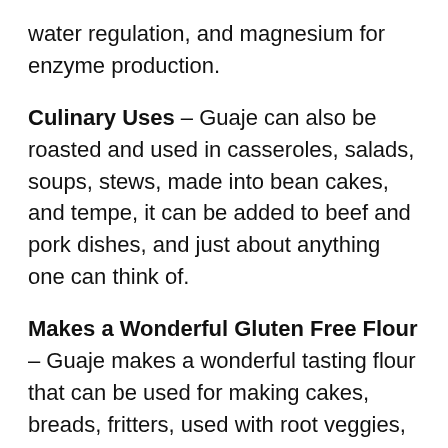water regulation, and magnesium for enzyme production.
Culinary Uses – Guaje can also be roasted and used in casseroles, salads, soups, stews, made into bean cakes, and tempe, it can be added to beef and pork dishes, and just about anything one can think of.
Makes a Wonderful Gluten Free Flour – Guaje makes a wonderful tasting flour that can be used for making cakes, breads, fritters, used with root veggies, with rice, omelets, curries and other dishes.
High in Saponins – Guaje seeds are also high in saponin agents which are powerful antioxidants which help to prevent disease.
Coffee Substitute – Guaje can be roasted and ground like coffee, and then used as a great tasting caffeine free